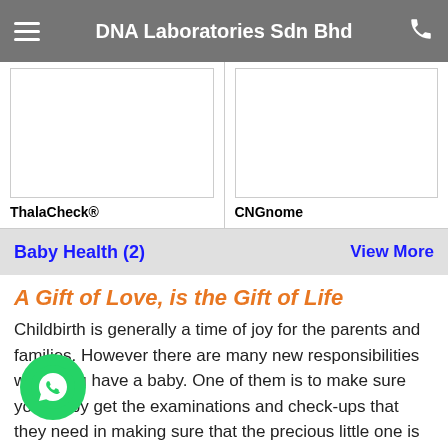DNA Laboratories Sdn Bhd
ThalaCheck®
CNGnome
Baby Health (2)    View More
A Gift of Love, is the Gift of Life
Childbirth is generally a time of joy for the parents and families. However there are many new responsibilities when you have a baby. One of them is to make sure your baby get the examinations and check-ups that they need in making sure that the precious little one is growing and developing properly. If there are any problems detected, you can catch them early. This means that there is a better chance for